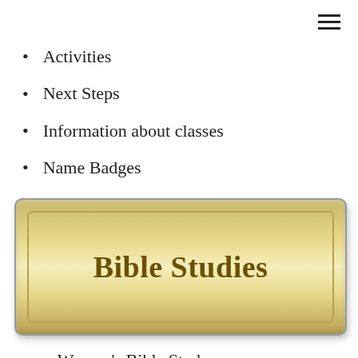Activities
Next Steps
Information about classes
Name Badges
Tech Tips
[Figure (other): Golden gradient button with text 'Bible Studies']
Women's Bible Study
Precept Bible Study
All You Need To Know To …